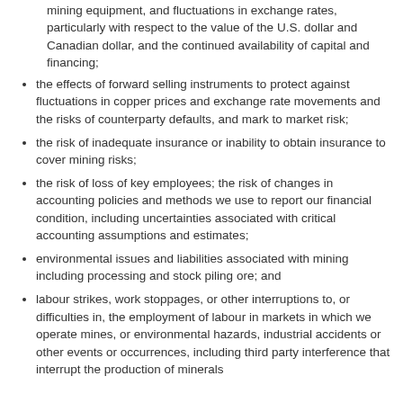fuel, steel, concrete, electricity and other forms of energy, mining equipment, and fluctuations in exchange rates, particularly with respect to the value of the U.S. dollar and Canadian dollar, and the continued availability of capital and financing;
the effects of forward selling instruments to protect against fluctuations in copper prices and exchange rate movements and the risks of counterparty defaults, and mark to market risk;
the risk of inadequate insurance or inability to obtain insurance to cover mining risks;
the risk of loss of key employees; the risk of changes in accounting policies and methods we use to report our financial condition, including uncertainties associated with critical accounting assumptions and estimates;
environmental issues and liabilities associated with mining including processing and stock piling ore; and
labour strikes, work stoppages, or other interruptions to, or difficulties in, the employment of labour in markets in which we operate mines, or environmental hazards, industrial accidents or other events or occurrences, including third party interference that interrupt the production of minerals